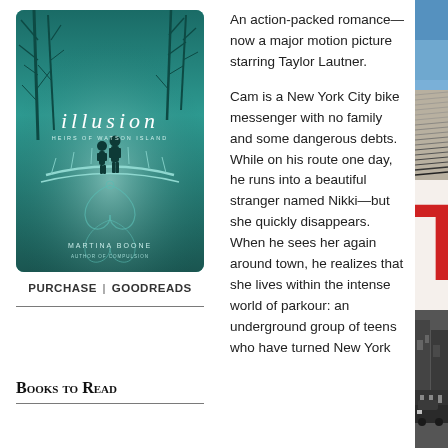[Figure (illustration): Book cover of 'Illusion: Heirs of Watson Island' by Martina Boone. Teal/green tinted cover showing two silhouetted figures on a bridge, bare trees, ornate swirling designs, with the title 'illusion' in white serif font and subtitle 'HEIRS OF WATSON ISLAND'. Author name MARTINA BOONE at the bottom.]
PURCHASE | GOODREADS
An action-packed romance—now a major motion picture starring Taylor Lautner.
Cam is a New York City bike messenger with no family and some dangerous debts. While on his route one day, he runs into a beautiful stranger named Nikki—but she quickly disappears. When he sees her again around town, he realizes that she lives within the intense world of parkour: an underground group of teens who have turned New York
Books to Read
[Figure (photo): Right column: stack of books/pages visible from the side, motion-blurred, dark background at top; large red letter T visible in mid section; black and white city street scene at bottom.]